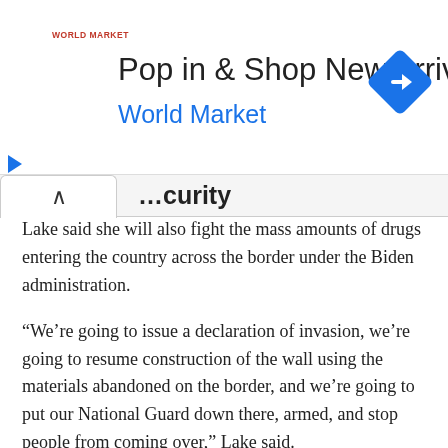[Figure (other): Advertisement banner for World Market: 'Pop in & Shop New Arrivals / World Market' with a blue navigation arrow icon and red World Market logo text. Play and close controls visible on the left side.]
…curity
Lake said she will also fight the mass amounts of drugs entering the country across the border under the Biden administration.
“We’re going to issue a declaration of invasion, we’re going to resume construction of the wall using the materials abandoned on the border, and we’re going to put our National Guard down there, armed, and stop people from coming over,” Lake said.
Big Tech Censorship
Straka then asked Lake about censorship. She responded by sharing ideas to hold big-tech companies accountable, including fining companies that impede on First Amendment…